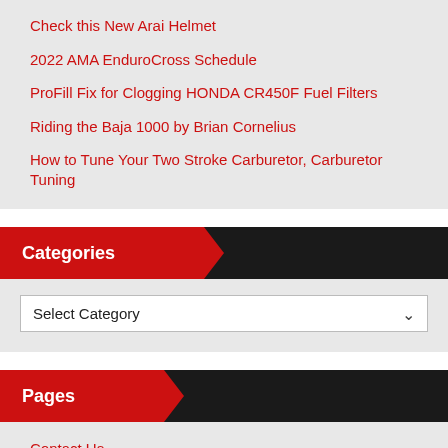Check this New Arai Helmet
2022 AMA EnduroCross Schedule
ProFill Fix for Clogging HONDA CR450F Fuel Filters
Riding the Baja 1000 by Brian Cornelius
How to Tune Your Two Stroke Carburetor, Carburetor Tuning
Categories
Select Category
Pages
Contact Us
Links
Privacy Statement
Share Links With EDM